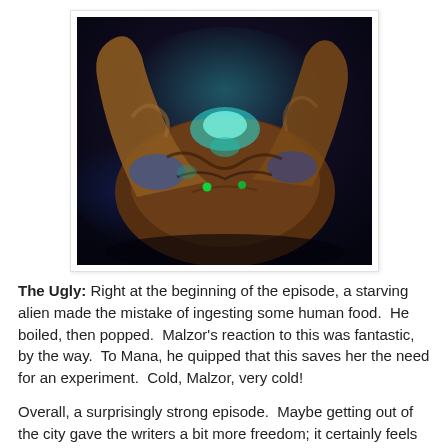[Figure (photo): Close-up photo of an alien creature with brownish-orange textured body, teal/turquoise and blue highlights, dark background with dim lighting — appears to be a still from a science fiction TV show.]
The Ugly: Right at the beginning of the episode, a starving alien made the mistake of ingesting some human food.  He boiled, then popped.  Malzor's reaction to this was fantastic, by the way.  To Mana, he quipped that this saves her the need for an experiment.  Cold, Malzor, very cold!
Overall, a surprisingly strong episode.  Maybe getting out of the city gave the writers a bit more freedom; it certainly feels like a breath of fresh air after the gritty urban stories we've been getting.  It also expands the world, showing that really the countryside isn't much better than the cities.